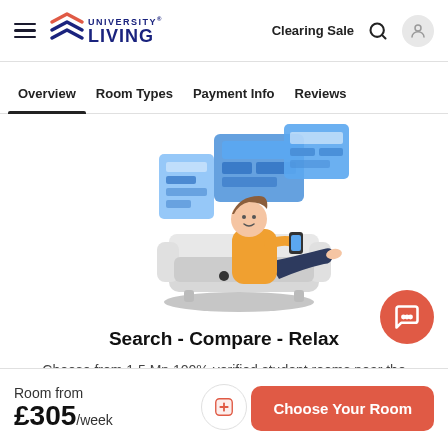University Living — Clearing Sale
Overview   Room Types   Payment Info   Reviews
[Figure (illustration): Isometric illustration of a person relaxing on a sofa with a smartphone, surrounded by blue digital display panels showing information]
Search - Compare - Relax
Choose from 1.5 Mn 100% verified student rooms near the university & compare between the best options.
Room from £305/week
Choose Your Room